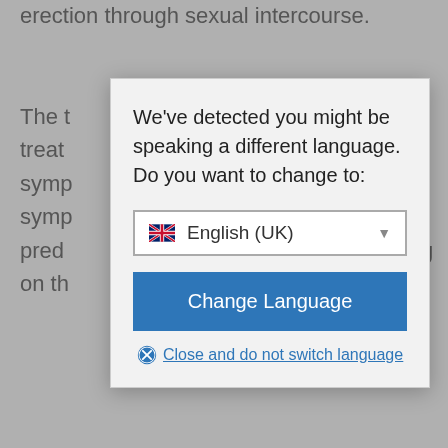erection through sexual intercourse.
The treatment symptoms symptoms predi on th ling
You
Contu alth issues her addi desire or impair erection. Permanent impotence can result from regular use of addictive poisons. Discuss any drug use with your doctor. Their doctor should be
[Figure (screenshot): Language selection modal dialog with 'We've detected you might be speaking a different language. Do you want to change to:' text, an English (UK) dropdown selector with UK flag, a blue 'Change Language' button, and a 'Close and do not switch language' link with an X icon.]